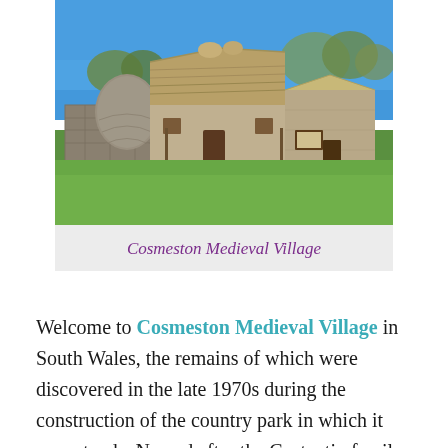[Figure (photo): Outdoor photograph of Cosmeston Medieval Village showing thatched-roof stone buildings, a stone dome structure, green lawn, trees and blue sky]
Cosmeston Medieval Village
Welcome to Cosmeston Medieval Village in South Wales, the remains of which were discovered in the late 1970s during the construction of the country park in which it now stands. Named after the Costentin family from northern France,